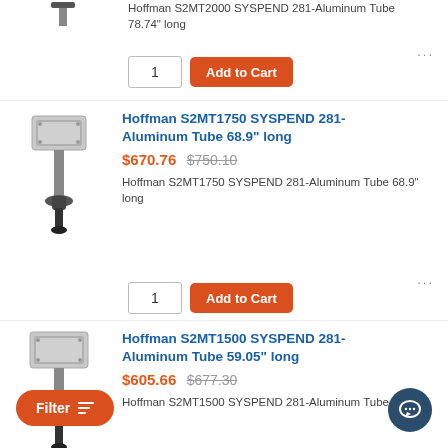Hoffman S2MT2000 SYSPEND 281-Aluminum Tube 78.74" long
1
Add to Cart
Hoffman S2MT1750 SYSPEND 281-Aluminum Tube 68.9" long
$670.76  $750.10
Hoffman S2MT1750 SYSPEND 281-Aluminum Tube 68.9" long
1
Add to Cart
Hoffman S2MT1500 SYSPEND 281-Aluminum Tube 59.05" long
$605.66  $677.30
Hoffman S2MT1500 SYSPEND 281-Aluminum Tube
[Figure (photo): Product image of Hoffman SYSPEND 281 Aluminum Tube mounting hardware, partial view at top]
[Figure (photo): Product image of Hoffman S2MT1750 SYSPEND 281 Aluminum Tube with mount]
[Figure (photo): Product image of Hoffman S2MT1500 SYSPEND 281 Aluminum Tube with mount, partial at bottom]